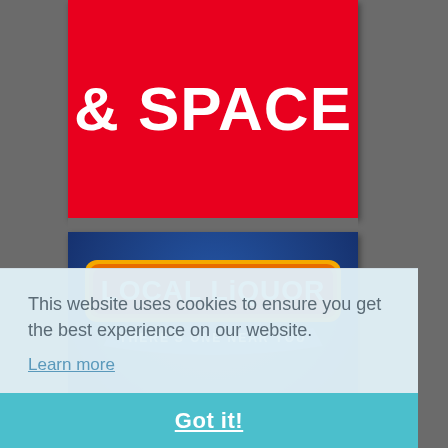[Figure (logo): Partial logo on red background showing '& SPACE' text in white bold font]
[Figure (logo): Local Liquor logo on dark blue background. Red badge with yellow/orange border reads 'LOCAL LiQUOR'. Below it a blue banner reads 'THERE'S ONE NEAR YOU']
This website uses cookies to ensure you get the best experience on our website.
Learn more
Got it!